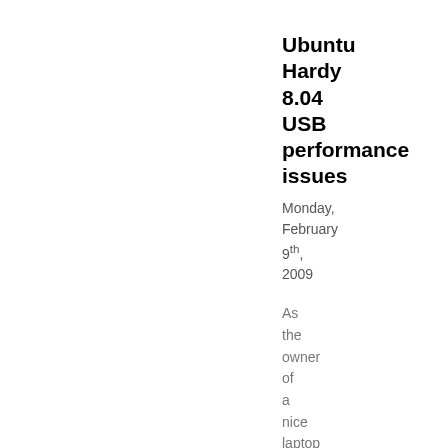Ubuntu Hardy 8.04 USB performance issues
Monday, February 9th, 2009
As the owner of a nice laptop running Hardy, I had a huge performance degradation